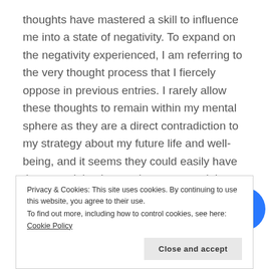thoughts have mastered a skill to influence me into a state of negativity. To expand on the negativity experienced, I am referring to the very thought process that I fiercely oppose in previous entries. I rarely allow these thoughts to remain within my mental sphere as they are a direct contradiction to my strategy about my future life and well-being, and it seems they could easily have the potential to be a poisonous weed that claims victory over a hopeful promising flourishing garden.
[Figure (photo): Row of three circular avatar photos of people and a blue circle with a plus sign, indicating more followers or participants.]
Privacy & Cookies: This site uses cookies. By continuing to use this website, you agree to their use.
To find out more, including how to control cookies, see here: Cookie Policy
Close and accept